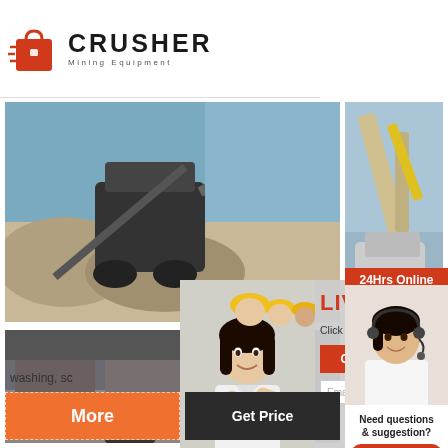[Figure (logo): Crusher Mining Equipment logo with red shopping bag icon and bold CRUSHER text]
[Figure (photo): Mining crushers and heavy equipment at quarry site]
[Figure (photo): Large mining equipment crane/excavator at quarry]
[Figure (screenshot): Live chat popup overlay: 24Hrs Online badge, LIVE CHAT text, Click for a Free Consultation, Chat now / Chat later buttons, Email contact field, customer service lady with headset]
washing, sc...
More
Get Price
Need questions & suggestion?
Chat Now
Enquiry
mumumugoods@gmail.com
[Figure (photo): Quarry blasting / rock cliff mining scene]
[Figure (photo): Crushed rock / gravel pile]